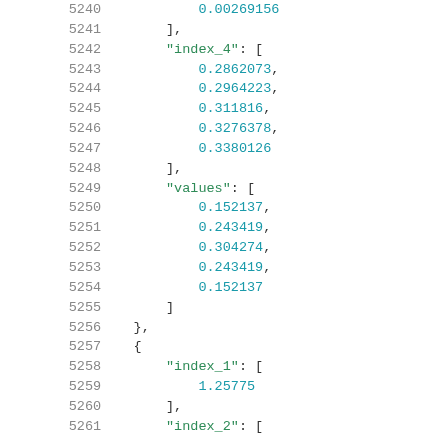Code listing lines 5240-5261 showing JSON data structure with index_4 values [0.2862073, 0.2964223, 0.311816, 0.3276378, 0.3380126], values array [0.152137, 0.243419, 0.304274, 0.243419, 0.152137], and beginning of next object with index_1: [1.25775] and index_2